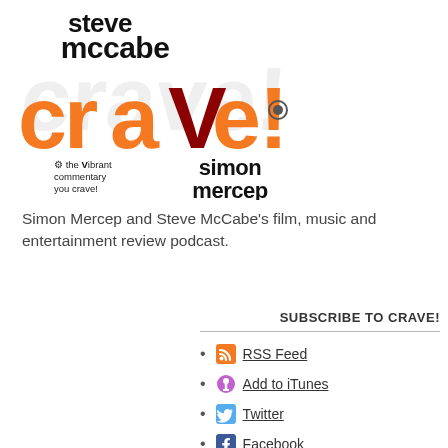[Figure (logo): Crave! podcast logo featuring 'steve mccabe' in black stylized text, large orange 'crave!' lettering with a dark red 'V', 'simon mercep' in black stylized text, and the tagline 'the Vibrant commentary you crave!' in small black text with a gear icon. Grey watermark text in background.]
Simon Mercep and Steve McCabe's film, music and entertainment review podcast.
SUBSCRIBE TO CRAVE!
RSS Feed
Add to iTunes
Twitter
Facebook